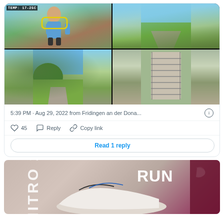[Figure (photo): Twitter/X post photo grid with 4 images: top-left shows a man with running gear and 'TEMP: 17-25C' overlay, top-right shows a green landscape with a path, bottom-left shows a mountain valley road, bottom-right shows stone stairs carved into rock]
5:39 PM · Aug 29, 2022 from Fridingen an der Dona...
45  Reply  Copy link
Read 1 reply
[Figure (photo): Advertisement for Puma Nitro 2 running shoe showing shoe with 'RUN' text and Puma logo]